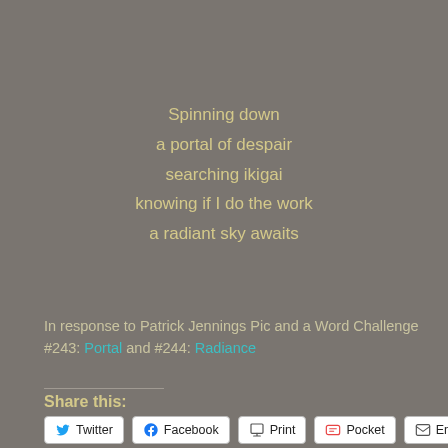Spinning down
a portal of despair
searching ikigai
knowing if I do the work
a radiant sky awaits
In response to Patrick Jennings Pic and a Word Challenge #243: Portal and #244: Radiance
Share this:
Twitter  Facebook  Print  Pocket  Email